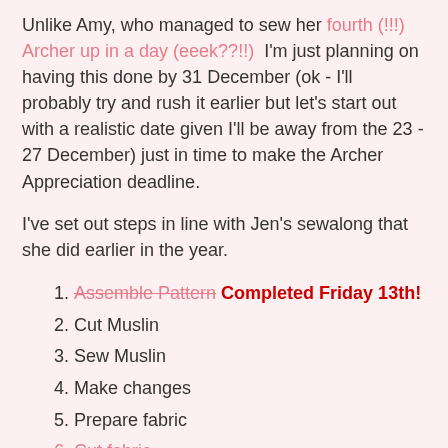Unlike Amy, who managed to sew her fourth (!!!) Archer up in a day (eeek??!!)  I'm just planning on having this done by 31 December (ok - I'll probably try and rush it earlier but let's start out with a realistic date given I'll be away from the 23 - 27 December) just in time to make the Archer Appreciation deadline.
I've set out steps in line with Jen's sewalong that she did earlier in the year.
1. Assemble Pattern – Completed Friday 13th!
2. Cut Muslin
3. Sew Muslin
4. Make changes
5. Prepare fabric
6. Cut fabric
7. Interfacing
8. Make button bands
9. Pockets
10. Assemble Back